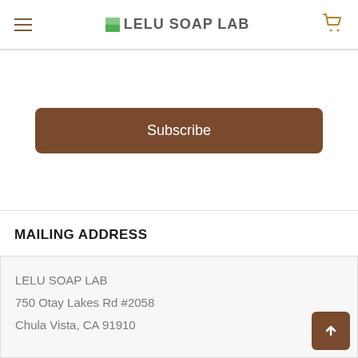LELU SOAP LAB
Subscribe
MAILING ADDRESS
LELU SOAP LAB
750 Otay Lakes Rd #2058
Chula Vista, CA 91910